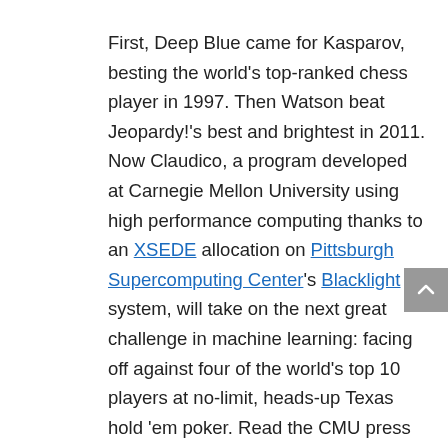First, Deep Blue came for Kasparov, besting the world's top-ranked chess player in 1997. Then Watson beat Jeopardy!'s best and brightest in 2011. Now Claudico, a program developed at Carnegie Mellon University using high performance computing thanks to an XSEDE allocation on Pittsburgh Supercomputing Center's Blacklight system, will take on the next great challenge in machine learning: facing off against four of the world's top 10 players at no-limit, heads-up Texas hold 'em poker. Read the CMU press release https://www.cs.cmu.edu/brains-vs-ai.
The two-week "Brains vs. Artificial Intelligence" tournament begins today at Rivers Casino in Pittsburgh, with poker pros Doug Polk, Dong Kim, Bjorn Li and Jason Les facing off against Claudico. Unlike a live chess machine, has to be able to...